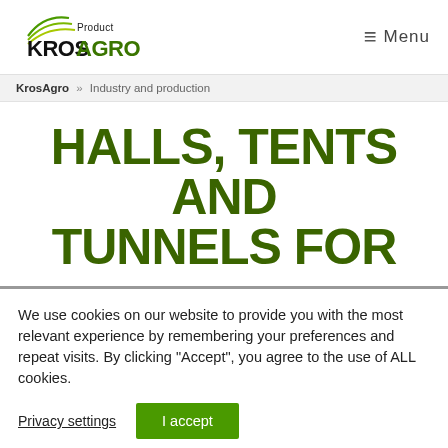[Figure (logo): KrosAgro Product logo with green arc lines and stylized text]
≡ Menu
KrosAgro » Industry and production
HALLS, TENTS AND TUNNELS FOR
We use cookies on our website to provide you with the most relevant experience by remembering your preferences and repeat visits. By clicking "Accept", you agree to the use of ALL cookies.
Privacy settings   I accept
.